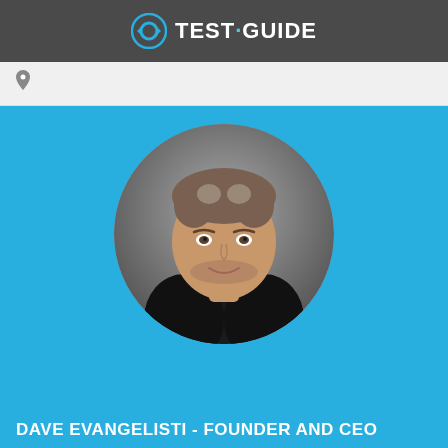TEST-GUIDE
[Figure (logo): Test-Guide logo with circular arrow icon and TEST·GUIDE text in white on dark grey header bar]
[Figure (photo): Map pin / location icon in grey on light grey navigation bar]
[Figure (photo): Circular portrait photo of Dave Evangelisti, a middle-aged man with grey-brown hair wearing a black jacket, on a blue background]
DAVE EVANGELISTI - FOUNDER AND CEO